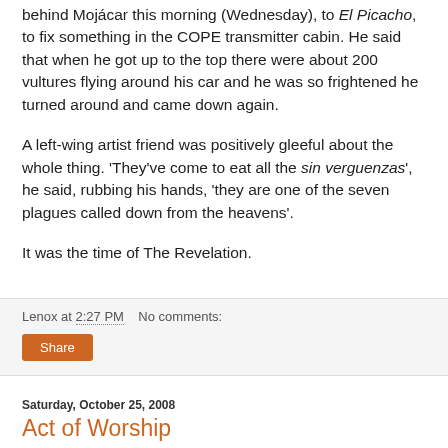Eater: My associate at the radio had to go up the mountain behind Mojácar this morning (Wednesday), to El Picacho, to fix something in the COPE transmitter cabin. He said that when he got up to the top there were about 200 vultures flying around his car and he was so frightened he turned around and came down again.
A left-wing artist friend was positively gleeful about the whole thing. 'They've come to eat all the sin verguenzas', he said, rubbing his hands, 'they are one of the seven plagues called down from the heavens'.
It was the time of The Revelation.
Lenox at 2:27 PM    No comments:
Share
Saturday, October 25, 2008
Act of Worship